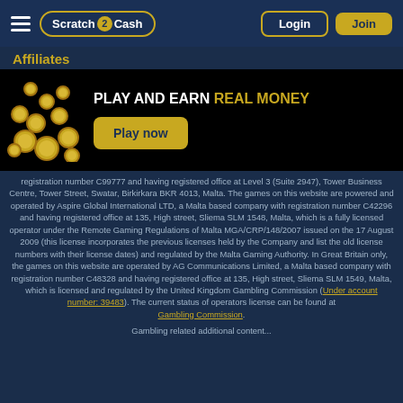Scratch2Cash | Login | Join
Affiliates
[Figure (infographic): Black banner with gold coins illustration on left, bold white text 'PLAY AND EARN REAL MONEY' with REAL MONEY in gold, and a gold 'Play now' button]
registration number C99777 and having registered office at Level 3 (Suite 2947), Tower Business Centre, Tower Street, Swatar, Birkirkara BKR 4013, Malta. The games on this website are powered and operated by Aspire Global International LTD, a Malta based company with registration number C42296 and having registered office at 135, High street, Sliema SLM 1548, Malta, which is a fully licensed operator under the Remote Gaming Regulations of Malta MGA/CRP/148/2007 issued on the 17 August 2009 (this license incorporates the previous licenses held by the Company and list the old license numbers with their license dates) and regulated by the Malta Gaming Authority. In Great Britain only, the games on this website are operated by AG Communications Limited, a Malta based company with registration number C48328 and having registered office at 135, High street, Sliema SLM 1549, Malta, which is licensed and regulated by the United Kingdom Gambling Commission (Under account number: 39483). The current status of operators license can be found at Gambling Commission.
Gambling related additional content...